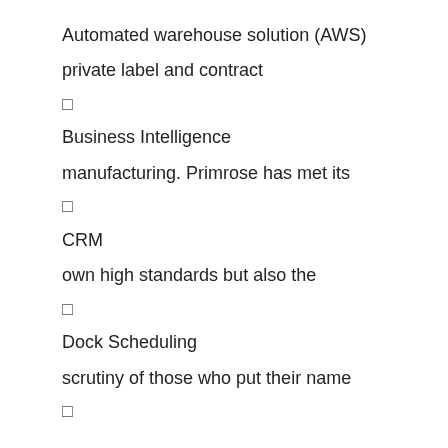Automated warehouse solution (AWS)
private label and contract
▯
Business Intelligence
manufacturing. Primrose has met its
▯
CRM
own high standards but also the
▯
Dock Scheduling
scrutiny of those who put their name
▯